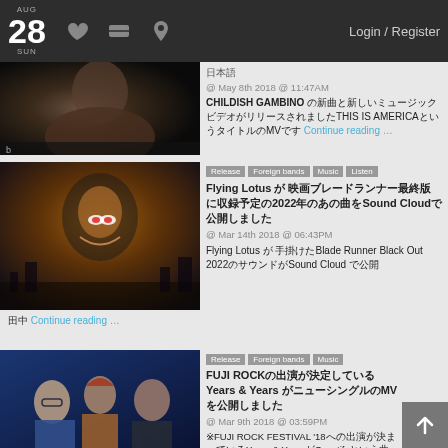AUG 28 SUN | Login / Register
[Figure (photo): Dark blurred photo of a person from behind, appears to be a movie/music video still]
日本語 @ May 8th 2018 @ 11:47AM CHILDISH GAMBINO の新曲と新しいミュージックビデオがリリースされましたTHIS IS AMERICAというタイトルのMVです Continue reading …
[Figure (photo): Animated/illustrated character with red hair and glowing eyes in dark setting - Blade Runner Black Out 2022]
Release Foreign bands Music Listen Flying Lotus が映画ブレードランナー最終版に収録予定の2022年のあの曲をSound Cloudで公開しました @ Mar 14th 2018 @ 06:43PM Flying Lotus が手掛けたBlade Runner Black Out 2022のサウンドがSound Cloud で公開 Continue reading …
[Figure (photo): Three young men posing for a photo - band members of Years & Years]
Release Foreign bands Music FUJI ROCKの出演が決定している Years & Years がニューシングルのMVを公開しました @ Mar 9th 2018 @ 03:59PM ※FUJI ROCK FESTIVAL '18への出演が決まっているYears & YearsがSanctifyという曲を